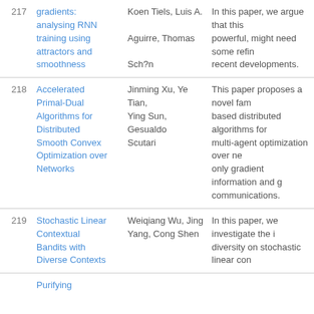| # | Title | Authors | Abstract |
| --- | --- | --- | --- |
| 217 | gradients: analysing RNN training using attractors and smoothness | Koen Tiels, Luis A. Aguirre, Thomas Sch?n | In this paper, we argue that this powerful, might need some refin recent developments. |
| 218 | Accelerated Primal-Dual Algorithms for Distributed Smooth Convex Optimization over Networks | Jinming Xu, Ye Tian, Ying Sun, Gesualdo Scutari | This paper proposes a novel fam based distributed algorithms for multi-agent optimization over ne only gradient information and g communications. |
| 219 | Stochastic Linear Contextual Bandits with Diverse Contexts | Weiqiang Wu, Jing Yang, Cong Shen | In this paper, we investigate the diversity on stochastic linear con |
|  | Purifying |  |  |